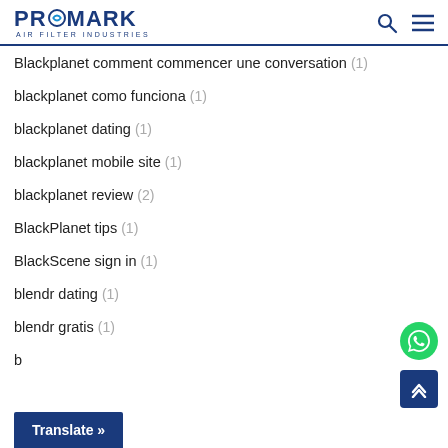[Figure (logo): Promark Air Filter Industries logo in blue]
Blackplanet comment commencer une conversation (1)
blackplanet como funciona (1)
blackplanet dating (1)
blackplanet mobile site (1)
blackplanet review (2)
BlackPlanet tips (1)
BlackScene sign in (1)
blendr dating (1)
blendr gratis (1)
b...